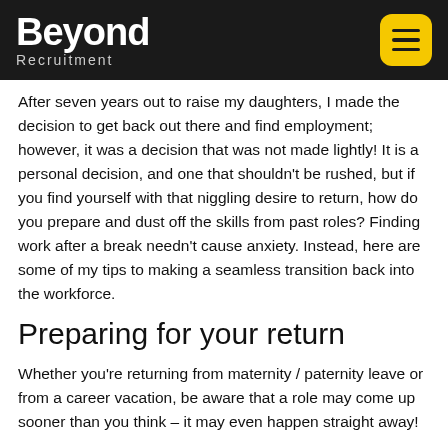Beyond Recruitment
After seven years out to raise my daughters, I made the decision to get back out there and find employment; however, it was a decision that was not made lightly! It is a personal decision, and one that shouldn't be rushed, but if you find yourself with that niggling desire to return, how do you prepare and dust off the skills from past roles? Finding work after a break needn't cause anxiety. Instead, here are some of my tips to making a seamless transition back into the workforce.
Preparing for your return
Whether you're returning from maternity / paternity leave or from a career vacation, be aware that a role may come up sooner than you think – it may even happen straight away!